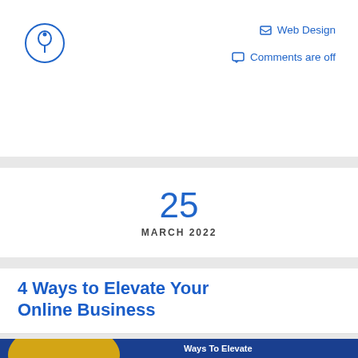[Figure (illustration): Pin/thumbtack icon in a circle outline, blue stroke]
Web Design
Comments are off
25
MARCH 2022
4 Ways to Elevate Your Online Business
[Figure (illustration): Infographic banner with dark blue and yellow/gold background showing two business people at a chart presentation, a person at a laptop, and text reading '4 Ways To Elevate Your Online Business']